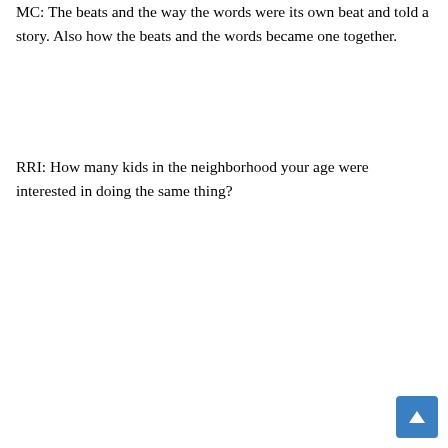MC: The beats and the way the words were its own beat and told a story. Also how the beats and the words became one together.
RRI: How many kids in the neighborhood your age were interested in doing the same thing?